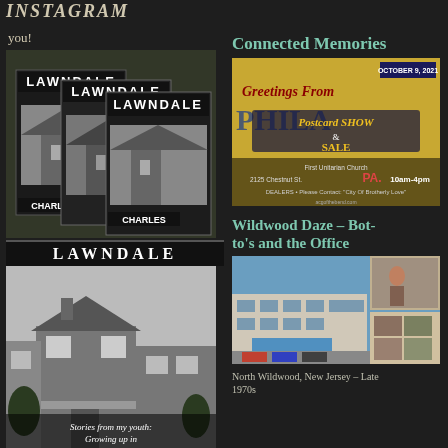INSTAGRAM
you!
[Figure (photo): Book covers showing 'LAWNDALE' title with row houses, author name CHARLES]
[Figure (photo): Black and white photo of a row house in Lawndale, Northeast Philadelphia, with text overlay: Stories from my youth: Growing up in Northeast Philadelphia in the 60s and 70s]
You Are What You Eat
Connected Memories
[Figure (photo): Postcard show flyer: Greetings From Philadelphia Postcard Show & Sale, October 9, 2021, First Unitarian Church, 2125 Chestnut St, PA, 10am-4pm, City Of Brotherly Love]
Wildwood Daze – Bot-to's and the Office
[Figure (photo): Photo collage of North Wildwood motel and beach scenes, late 1970s]
North Wildwood, New Jersey – Late 1970s